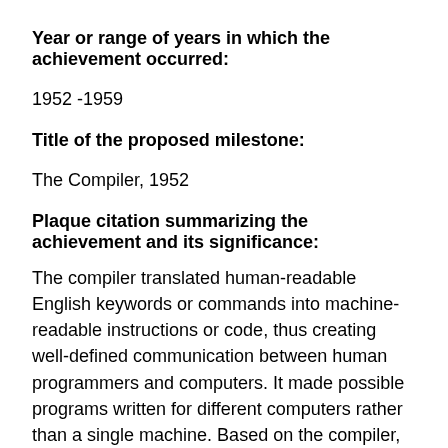Year or range of years in which the achievement occurred:
1952 -1959
Title of the proposed milestone:
The Compiler, 1952
Plaque citation summarizing the achievement and its significance:
The compiler translated human-readable English keywords or commands into machine-readable instructions or code, thus creating well-defined communication between human programmers and computers. It made possible programs written for different computers rather than a single machine. Based on the compiler, the Flow-Matic was first used in the UNIVAC. This shaped the creation of COBOL, a programming language that facilitated the information